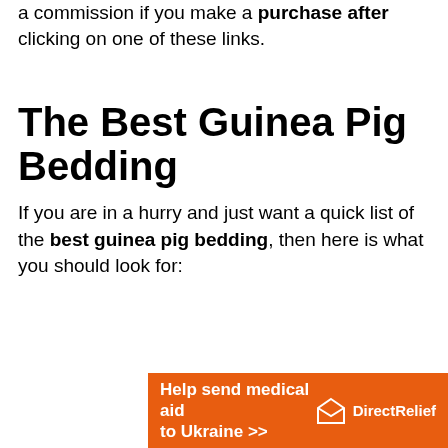a commission if you make a purchase after clicking on one of these links.
The Best Guinea Pig Bedding
If you are in a hurry and just want a quick list of the best guinea pig bedding, then here is what you should look for:
[Figure (infographic): Orange advertisement banner for Direct Relief charity: 'Help send medical aid to Ukraine >>' with Direct Relief logo (white envelope/box icon and text).]